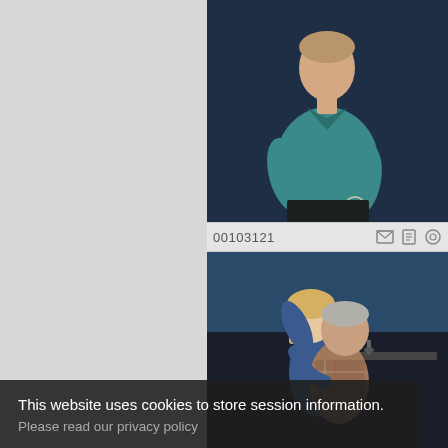[Figure (photo): A man in a teal/turquoise long-sleeve shirt holding a wine glass, standing against a dark background — theatrical production photo]
00103121
[Figure (photo): A blonde woman in a blue top and an older man in a plaid shirt embracing on a stage set with a kitchen sink visible in the background — theatrical production photo]
This website uses cookies to store session information.
Please read our privacy policy